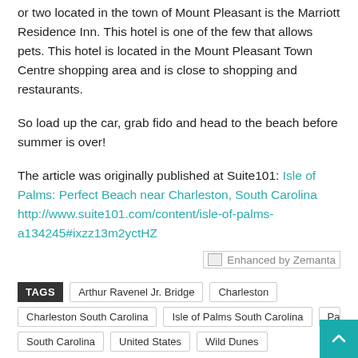or two located in the town of Mount Pleasant is the Marriott Residence Inn. This hotel is one of the few that allows pets. This hotel is located in the Mount Pleasant Town Centre shopping area and is close to shopping and restaurants.
So load up the car, grab fido and head to the beach before summer is over!
The article was originally published at Suite101: Isle of Palms: Perfect Beach near Charleston, South Carolina http://www.suite101.com/content/isle-of-palms-a134245#ixzz13m2yctHZ
[Figure (other): Enhanced by Zemanta badge/button]
TAGS  Arthur Ravenel Jr. Bridge  Charleston  Charleston South Carolina  Isle of Palms South Carolina  Palms  South Carolina  United States  Wild Dunes